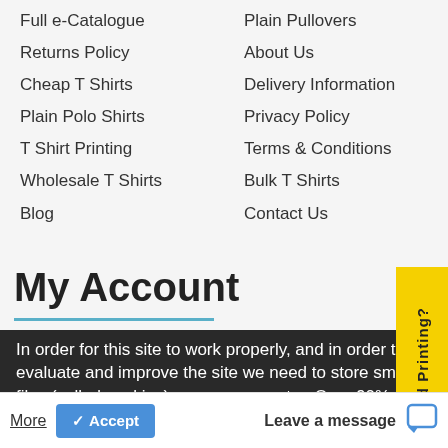Full e-Catalogue
Returns Policy
Cheap T Shirts
Plain Polo Shirts
T Shirt Printing
Wholesale T Shirts
Blog
Plain Pullovers
About Us
Delivery Information
Privacy Policy
Terms & Conditions
Bulk T Shirts
Contact Us
My Account
In order for this site to work properly, and in order to evaluate and improve the site we need to store small files (called cookies) on your computer. Over 90% of all websites do this, however, on the 25th of May 2018 we are required by EU regulations to obtain your consent first. What do you say?  Read More
Leave a message